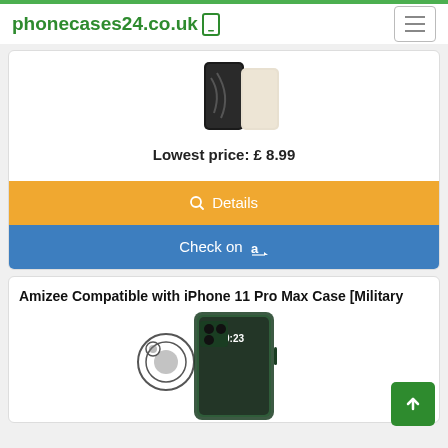phonecases24.co.uk
Lowest price: £ 8.99
Details
Check on a
Amizee Compatible with iPhone 11 Pro Max Case [Military
[Figure (photo): Product image of iPhone 11 Pro Max case - green transparent case with camera lens protector accessory]